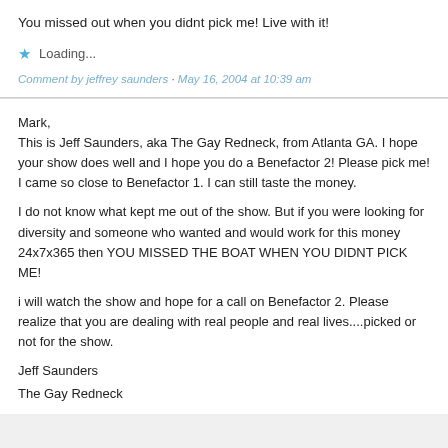You missed out when you didnt pick me! Live with it!
Loading...
Comment by jeffrey saunders - May 16, 2004 at 10:39 am
Mark,
This is Jeff Saunders, aka The Gay Redneck, from Atlanta GA. I hope your show does well and I hope you do a Benefactor 2! Please pick me! I came so close to Benefactor 1. I can still taste the money.

I do not know what kept me out of the show. But if you were looking for diversity and someone who wanted and would work for this money 24x7x365 then YOU MISSED THE BOAT WHEN YOU DIDNT PICK ME!

i will watch the show and hope for a call on Benefactor 2. Please realize that you are dealing with real people and real lives....picked or not for the show.

Jeff Saunders
The Gay Redneck